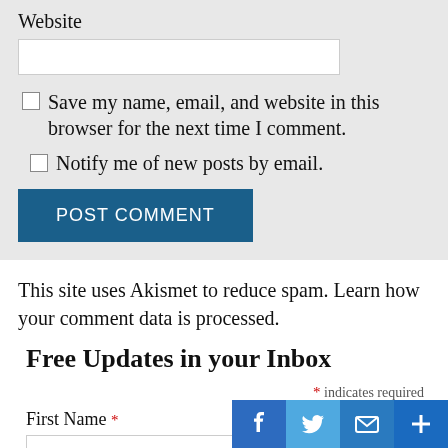Website
Save my name, email, and website in this browser for the next time I comment.
Notify me of new posts by email.
POST COMMENT
This site uses Akismet to reduce spam. Learn how your comment data is processed.
Free Updates in your Inbox
* indicates required
First Name *